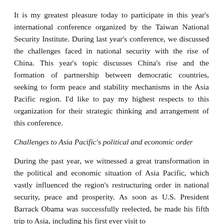It is my greatest pleasure today to participate in this year's international conference organized by the Taiwan National Security Institute. During last year's conference, we discussed the challenges faced in national security with the rise of China. This year's topic discusses China's rise and the formation of partnership between democratic countries, seeking to form peace and stability mechanisms in the Asia Pacific region. I'd like to pay my highest respects to this organization for their strategic thinking and arrangement of this conference.
Challenges to Asia Pacific's political and economic order
During the past year, we witnessed a great transformation in the political and economic situation of Asia Pacific, which vastly influenced the region's restructuring order in national security, peace and prosperity. As soon as U.S. President Barrack Obama was successfully reelected, he made his fifth trip to Asia, including his first ever visit to